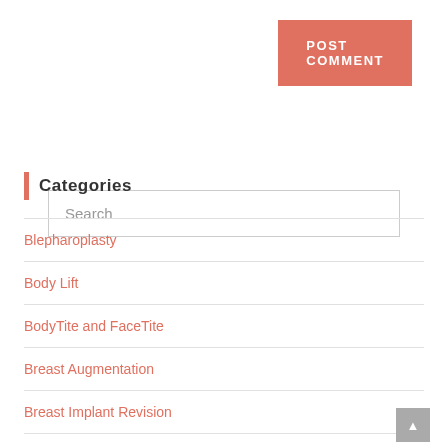POST COMMENT
Search
Categories
Blepharoplasty
Body Lift
BodyTite and FaceTite
Breast Augmentation
Breast Implant Revision
Breast Lift
Breast Reconstruction